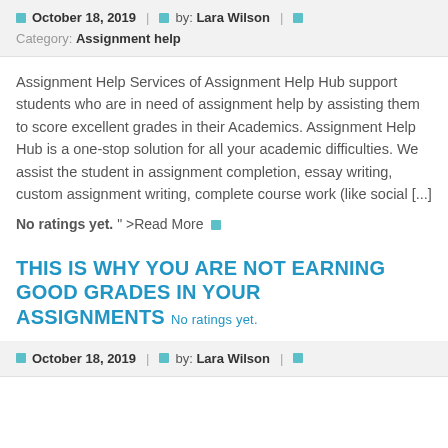October 18, 2019 | by: Lara Wilson | Category: Assignment help
Assignment Help Services of Assignment Help Hub support students who are in need of assignment help by assisting them to score excellent grades in their Academics. Assignment Help Hub is a one-stop solution for all your academic difficulties. We assist the student in assignment completion, essay writing, custom assignment writing, complete course work (like social [...]
No ratings yet. " >Read More
THIS IS WHY YOU ARE NOT EARNING GOOD GRADES IN YOUR ASSIGNMENTS No ratings yet.
October 18, 2019 | by: Lara Wilson |